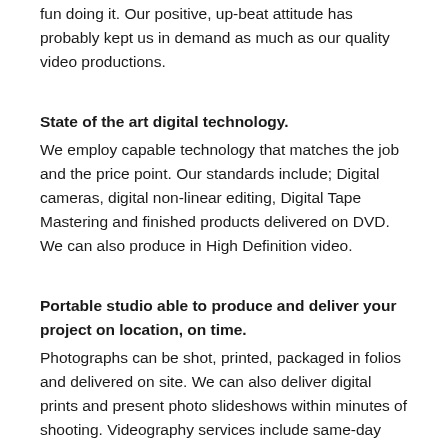fun doing it. Our positive, up-beat attitude has probably kept us in demand as much as our quality video productions.
State of the art digital technology.
We employ capable technology that matches the job and the price point. Our standards include; Digital cameras, digital non-linear editing, Digital Tape Mastering and finished products delivered on DVD. We can also produce in High Definition video.
Portable studio able to produce and deliver your project on location, on time.
Photographs can be shot, printed, packaged in folios and delivered on site. We can also deliver digital prints and present photo slideshows within minutes of shooting. Videography services include same-day edit of Recap and Highlight videos. We can provide projection of the finished program as well as